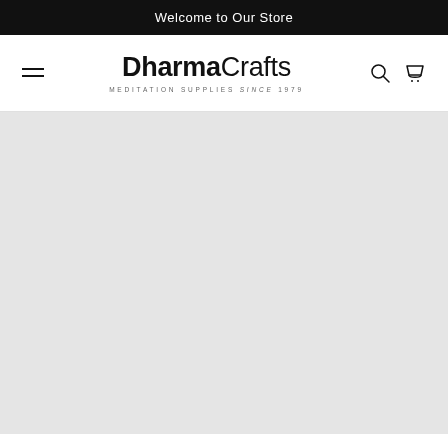Welcome to Our Store
[Figure (logo): DharmaCrafts logo with tagline MEDITATION SUPPLIES since 1979, flanked by hamburger menu icon on the left and search and cart icons on the right]
[Figure (photo): Large light grey content area below the header, appears to be a loading or placeholder area]